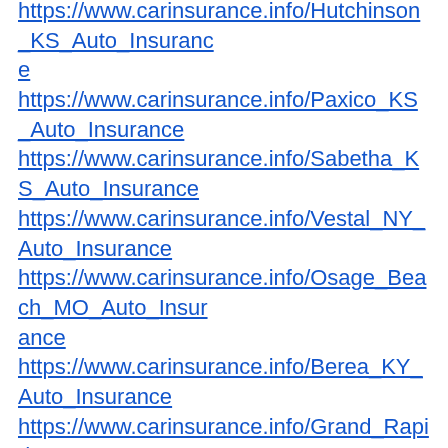https://www.carinsurance.info/Hutchinson_KS_Auto_Insurance
https://www.carinsurance.info/Paxico_KS_Auto_Insurance
https://www.carinsurance.info/Sabetha_KS_Auto_Insurance
https://www.carinsurance.info/Vestal_NY_Auto_Insurance
https://www.carinsurance.info/Osage_Beach_MO_Auto_Insurance
https://www.carinsurance.info/Berea_KY_Auto_Insurance
https://www.carinsurance.info/Grand_Rapids_MI_Auto_Insurance
https://www.carinsurance.info/Wappingers_Falls_NY_Auto_Insurance
https://www.carinsurance.info/Kew_Gardens_NY_Auto_Insurance
https://www.carinsurance.info/Garden_City_NY_Auto_Insurance
https://www.carinsurance.info/Westchester_IL_Auto_Insurance